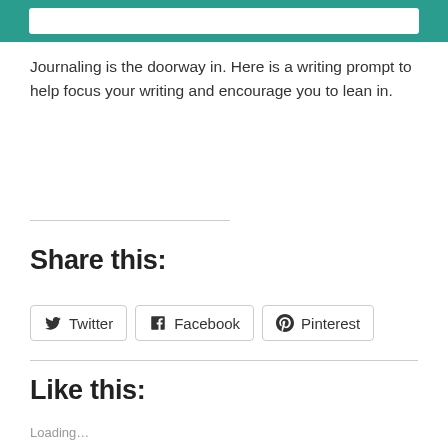Journaling is the doorway in. Here is a writing prompt to help focus your writing and encourage you to lean in.
Share this:
[Figure (other): Social sharing buttons: Twitter, Facebook, Pinterest]
Like this:
Loading…